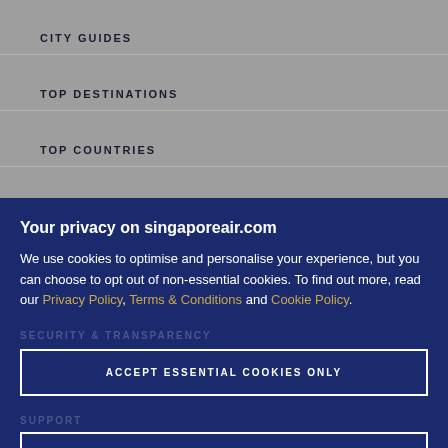CITY GUIDES
TOP DESTINATIONS
TOP COUNTRIES
POPULAR FLIGHTS
Your privacy on singaporeair.com
We use cookies to optimise and personalise your experience, but you can choose to opt out of non-essential cookies. To find out more, read our Privacy Policy, Terms & Conditions and Cookie Policy.
ACCEPT ESSENTIAL COOKIES ONLY
ACCEPT ALL COOKIES